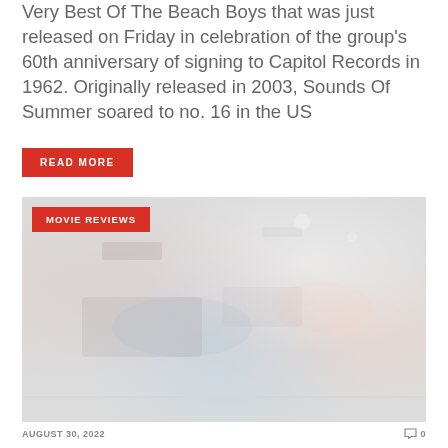Very Best Of The Beach Boys that was just released on Friday in celebration of the group's 60th anniversary of signing to Capitol Records in 1962. Originally released in 2003, Sounds Of Summer soared to no. 16 in the US
READ MORE
[Figure (photo): Blurred/faded photo with a red MOVIE REVIEWS badge overlay in the top left corner. The image appears to show a nighttime or indoor scene with lights, rendered in muted grays and soft colors.]
AUGUST 30, 2022
0